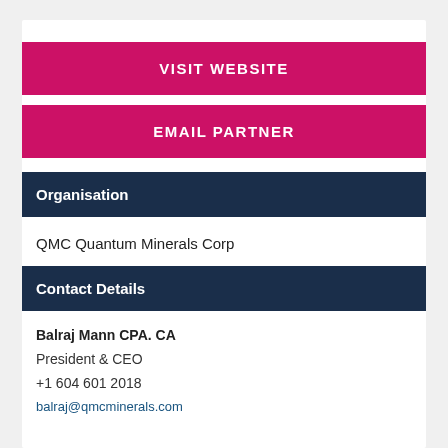VISIT WEBSITE
EMAIL PARTNER
Organisation
QMC Quantum Minerals Corp
Contact Details
Balraj Mann CPA. CA
President & CEO
+1 604 601 2018
balraj@qmcminerals.com